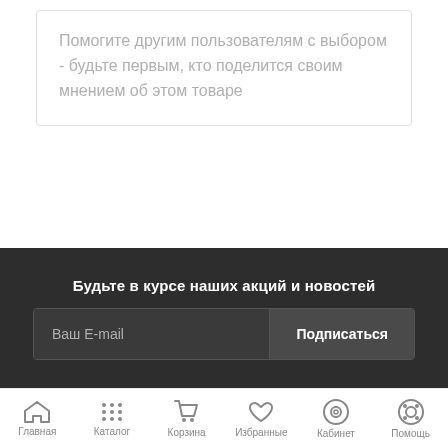Помогите другим пользователям с выбором - будьте первым, кто поделится своим мнением об этом товаре
Будьте в курсе наших акций и новостей
Ваш E-mail
Подписаться
Главная | Каталог | Корзина | Избранные | Кабинет | Помощь